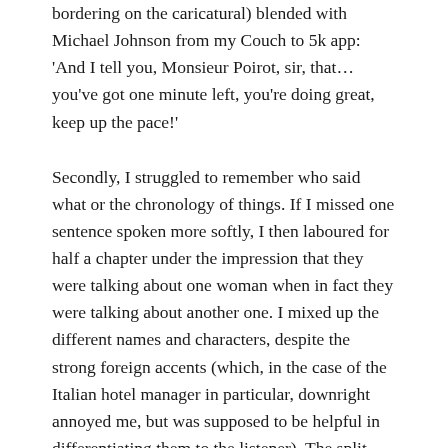bordering on the caricatural) blended with Michael Johnson from my Couch to 5k app: 'And I tell you, Monsieur Poirot, sir, that… you've got one minute left, you're doing great, keep up the pace!'
Secondly, I struggled to remember who said what or the chronology of things. If I missed one sentence spoken more softly, I then laboured for half a chapter under the impression that they were talking about one woman when in fact they were talking about another one. I mixed up the different names and characters, despite the strong foreign accents (which, in the case of the Italian hotel manager in particular, downright annoyed me, but was supposed to be helpful in differentiating them to the listener). The split narrative, between Hercule Poirot in third person and his sidekick Catchpool in first person, didn't help either, as I soon lost track of who had discovered what and precisely when. They